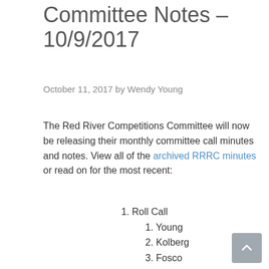Committee Notes – 10/9/2017
October 11, 2017 by Wendy Young
The Red River Competitions Committee will now be releasing their monthly committee call minutes and notes. View all of the archived RRRC minutes or read on for the most recent:
1. Roll Call
1. Young
2. Kolberg
3. Fosco
4. Watson
5. Turner
6. Tolar
7. Kunlag